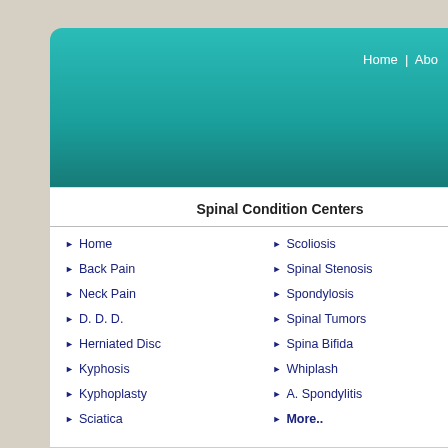Home | Abo
Spinal Condition Centers
Home
Scoliosis
Back Pain
Spinal Stenosis
Neck Pain
Spondylosis
D. D. D.
Spinal Tumors
Herniated Disc
Spina Bifida
Kyphosis
Whiplash
Kyphoplasty
A. Spondylitis
Sciatica
More..
We Care Health Services Partner Hospitals
[Figure (logo): Apollo Hospitals Group logo with tagline 'touching lives']
[Figure (logo): Indraprastha Apollo Hospitals logo with tagline 'touching lives']
[Figure (logo): Apollo (partial, right edge)]